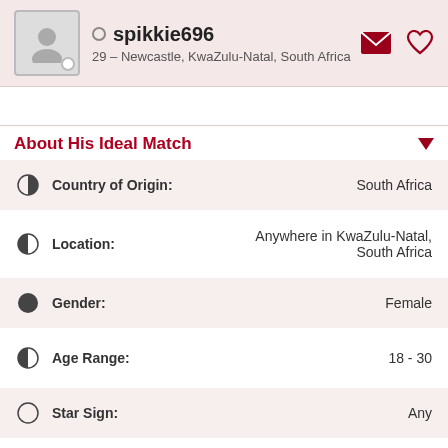spikkie696 — 29 – Newcastle, KwaZulu-Natal, South Africa
About His Ideal Match
| Field | Value |
| --- | --- |
| Country of Origin: | South Africa |
| Location: | Anywhere in KwaZulu-Natal, South Africa |
| Gender: | Female |
| Age Range: | 18 - 30 |
| Star Sign: | Any |
| Height: | Any |